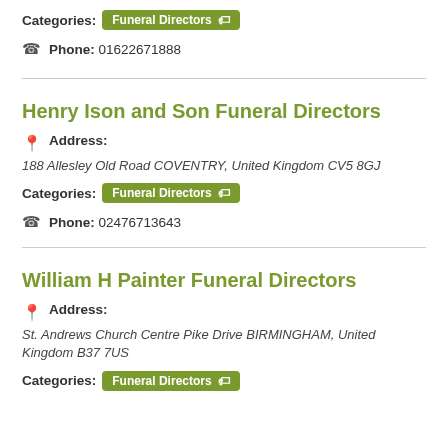Categories: Funeral Directors
Phone: 01622671888
Henry Ison and Son Funeral Directors
Address: 188 Allesley Old Road COVENTRY, United Kingdom CV5 8GJ
Categories: Funeral Directors
Phone: 02476713643
William H Painter Funeral Directors
Address: St. Andrews Church Centre Pike Drive BIRMINGHAM, United Kingdom B37 7US
Categories: Funeral Directors